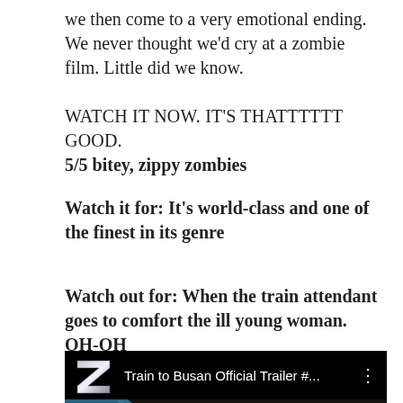we then come to a very emotional ending. We never thought we'd cry at a zombie film. Little did we know.
WATCH IT NOW. IT'S THATTTTTT GOOD.
5/5 bitey, zippy zombies
Watch it for: It's world-class and one of the finest in its genre
Watch out for: When the train attendant goes to comfort the ill young woman. OH-OH
[Figure (screenshot): YouTube video thumbnail for 'Train to Busan Official Trailer #...' showing a zombie woman with blood around her mouth, with a Z logo on black top bar]